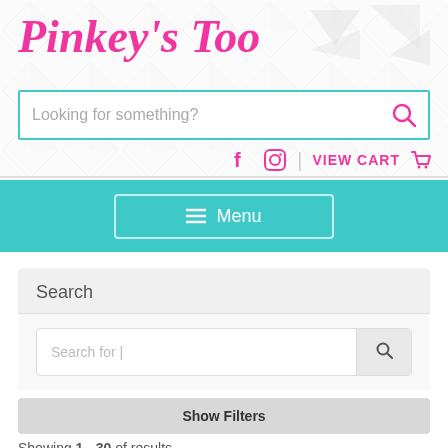Pinkey's Too
[Figure (screenshot): Search bar with placeholder 'Looking for something?' and pink search icon]
[Figure (screenshot): Social media icons (Facebook, Instagram), divider, VIEW CART with cart icon - all in pink]
[Figure (screenshot): Teal navigation bar with Menu button (hamburger icon and 'Menu' text)]
Search
[Figure (screenshot): Search input box with 'Search for |' placeholder and search icon button]
Show Filters
Showing 1 - 30 of results